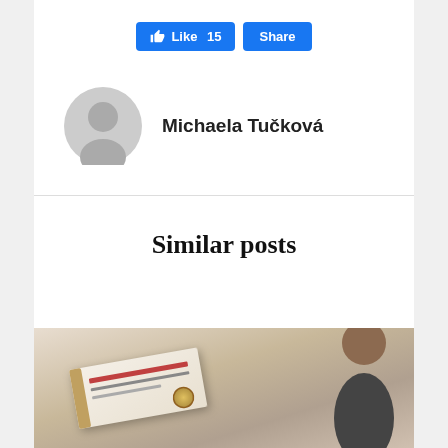[Figure (other): Facebook Like button showing thumbs up icon with 'Like 15' text and a separate 'Share' button, both in blue]
Michaela Tučková
Similar posts
[Figure (photo): Photo showing a person reading or holding a document/book with an official seal, background is light/cream colored, dark-haired person visible on right side]